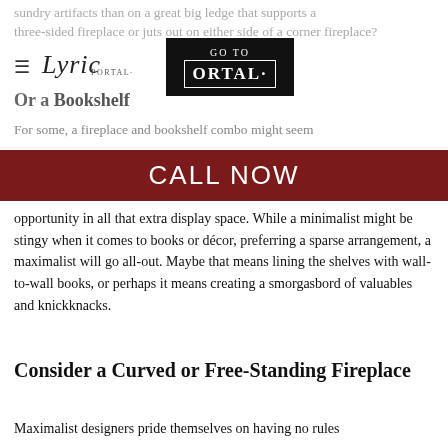sundry artifacts than on a great big ledge that supports a three-sided fireplace or juts out on either side of a corner fireplace?
Lyric | PORTAL — GO TO ORTAL
Or a Bookshelf
For some, a fireplace and bookshelf combo might seem
[Figure (infographic): CALL NOW banner in dark red/maroon background with white text]
opportunity in all that extra display space. While a minimalist might be stingy when it comes to books or décor, preferring a sparse arrangement, a maximalist will go all-out. Maybe that means lining the shelves with wall-to-wall books, or perhaps it means creating a smorgasbord of valuables and knickknacks.
Consider a Curved or Free-Standing Fireplace
Maximalist designers pride themselves on having no rules and no taboos. They live for the joy of finding interesting objects and decorating to their heart's content. That being the case, there's no reason not to embrace a free-standing or curved fireplace. Although usually confined to kitchens and breakfast nooks, these charmers can fit right at home in a maximalist's living room or dining area. Why not?
Want to soak up more inspiration? Flip through our catalog to